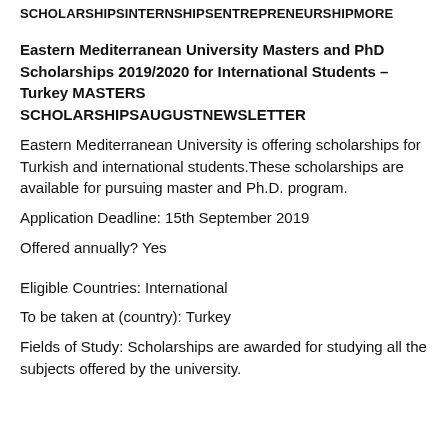SCHOLARSHIPSINTERNSHIPSENTREPRENEURSHIPMORE
Eastern Mediterranean University Masters and PhD Scholarships 2019/2020 for International Students – Turkey MASTERS SCHOLARSHIPSAUGUSTNEWSLETTER
Eastern Mediterranean University is offering scholarships for Turkish and international students.These scholarships are available for pursuing master and Ph.D. program.
Application Deadline: 15th September 2019
Offered annually? Yes
Eligible Countries: International
To be taken at (country): Turkey
Fields of Study: Scholarships are awarded for studying all the subjects offered by the university.